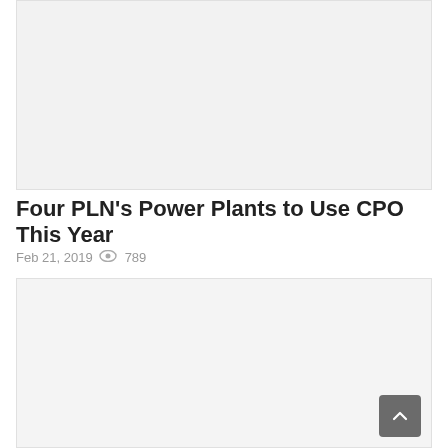[Figure (photo): Image placeholder at top of article]
Four PLN's Power Plants to Use CPO This Year
Feb 21, 2019  👁 789
[Figure (photo): Image placeholder below article metadata]